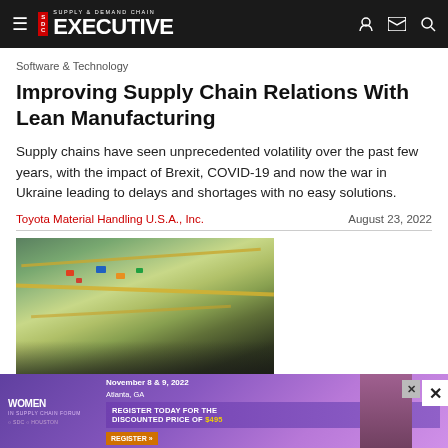Supply & Demand Chain Executive
Software & Technology
Improving Supply Chain Relations With Lean Manufacturing
Supply chains have seen unprecedented volatility over the past few years, with the impact of Brexit, COVID-19 and now the war in Ukraine leading to delays and shortages with no easy solutions.
Toyota Material Handling U.S.A., Inc.   August 23, 2022
[Figure (photo): Aerial view of ocean port or cargo terminal with trucks and shipping containers]
Ocean Ports & Carriers
[Figure (infographic): Advertisement banner for Women in Supply Chain Forum, November 8 & 9, 2022, Atlanta, GA. Register today for the discounted price of $495.]